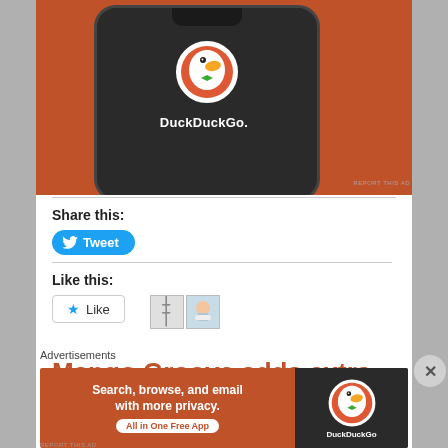[Figure (screenshot): DuckDuckGo mobile app advertisement showing a phone with DuckDuckGo logo on orange background]
REPORT THIS AD
Share this:
Tweet
Like this:
Like
Mango Groove adds extra show
Advertisements
[Figure (screenshot): DuckDuckGo advertisement banner: Search, browse, and email with more privacy. All in One Free App]